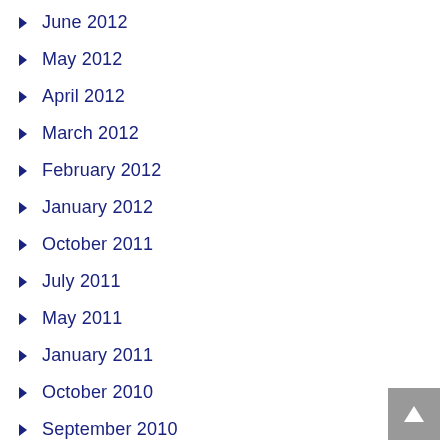June 2012
May 2012
April 2012
March 2012
February 2012
January 2012
October 2011
July 2011
May 2011
January 2011
October 2010
September 2010